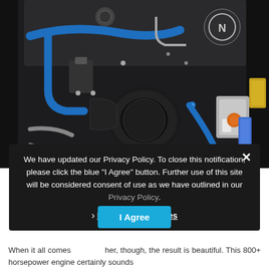[Figure (photo): Close-up photo of a Nissan engine bay with blue aftermarket intake pipes, black engine block, various hoses and components visible, Nissan logo on the engine cover.]
We have updated our Privacy Policy. To close this notification, please click the blue "I Agree" button. Further use of this site will be considered consent of use as we have outlined in our Privacy Policy.
› Privacy Preferences
I Agree
When it all comes together, though, the result is beautiful. This 800+ horsepower engine certainly sounds